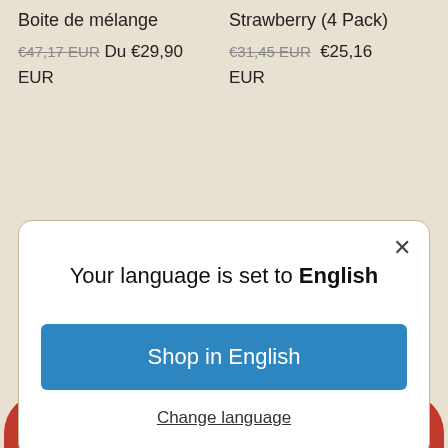Boite de mélange
Strawberry (4 Pack)
€47,17 EUR Du €29,90 EUR
€31,45 EUR €25,16 EUR
[Figure (screenshot): Modal dialog with close button, title 'Your language is set to English', blue 'Shop in English' button, and 'Change language' underlined link]
Salted Caramel (4 Pack) Cinnamon
€29,90 EUR
€29,90 EUR